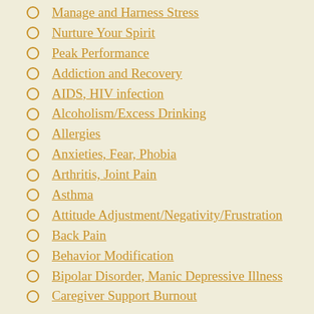Manage and Harness Stress
Nurture Your Spirit
Peak Performance
Addiction and Recovery
AIDS, HIV infection
Alcoholism/Excess Drinking
Allergies
Anxieties, Fear, Phobia
Arthritis, Joint Pain
Asthma
Attitude Adjustment/Negativity/Frustration
Back Pain
Behavior Modification
Bipolar Disorder, Manic Depressive Illness
Caregiver Support Burnout